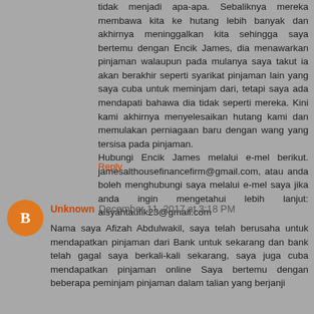tidak menjadi apa-apa. Sebaliknya mereka membawa kita ke hutang lebih banyak dan akhirnya meninggalkan kita sehingga saya bertemu dengan Encik James, dia menawarkan pinjaman walaupun pada mulanya saya takut ia akan berakhir seperti syarikat pinjaman lain yang saya cuba untuk meminjam dari, tetapi saya ada mendapati bahawa dia tidak seperti mereka. Kini kami akhirnya menyelesaikan hutang kami dan memulakan perniagaan baru dengan wang yang tersisa pada pinjaman. Hubungi Encik James melalui e-mel berikut. jamesalthousefinancefirm@gmail.com, atau anda boleh menghubungi saya melalui e-mel saya jika anda ingin mengetahui lebih lanjut: aisyahtaufik23@gmail.com
Reply
Unknown December 11, 2017 at 3:18 PM
Nama saya Afizah Abdulwakil, saya telah berusaha untuk mendapatkan pinjaman dari Bank untuk sekarang dan bank telah gagal saya berkali-kali sekarang, saya juga cuba mendapatkan pinjaman online Saya bertemu dengan beberapa peminjam pinjaman dalam talian yang berjanji